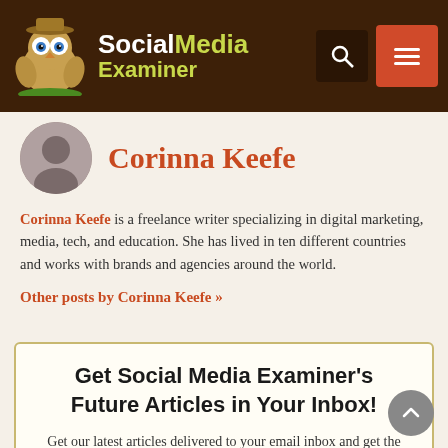[Figure (logo): Social Media Examiner logo with owl mascot character in safari hat, white and yellow text on dark brown background, with search and menu icons on the right]
Corinna Keefe
Corinna Keefe is a freelance writer specializing in digital marketing, media, tech, and education. She has lived in ten different countries and works with brands and agencies around the world.
Other posts by Corinna Keefe »
Get Social Media Examiner's Future Articles in Your Inbox!
Get our latest articles delivered to your email inbox and get the FREE Social Media